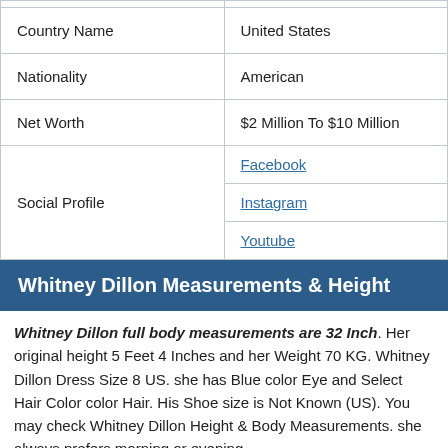| Country Name | United States |
| Nationality | American |
| Net Worth | $2 Million To $10 Million |
| Social Profile | Facebook
Instagram
Youtube |
Whitney Dillon Measurements & Height
Whitney Dillon full body measurements are 32 Inch. Her original height 5 Feet 4 Inches and her Weight 70 KG. Whitney Dillon Dress Size 8 US. she has Blue color Eye and Select Hair Color color Hair. His Shoe size is Not Known (US). You may check Whitney Dillon Height & Body Measurements. she always prefers morning or evening